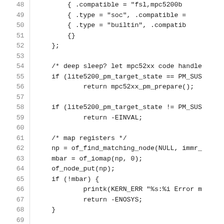Source code listing, lines 48-77, showing C kernel code for mpc52xx power management